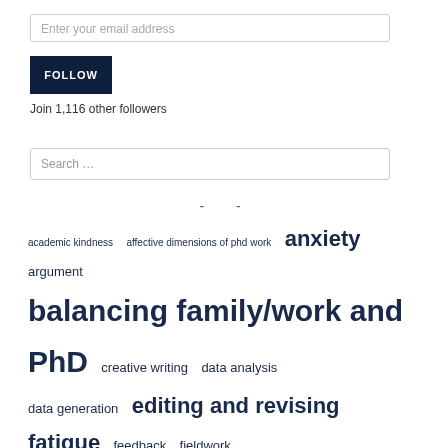Enter your email address
FOLLOW
Join 1,116 other followers
Search …
- -
academic kindness  affective dimensions of phd work  anxiety  argument  balancing family/work and PhD  creative writing  data analysis  data generation  editing and revising  fatigue  feedback  fieldwork  identity  journalling  literature reviews  metaphor in doctoral writing  methodology  motivation  post-PhD work  proposals  Reading  research ethics  research writing  sabbatical leave